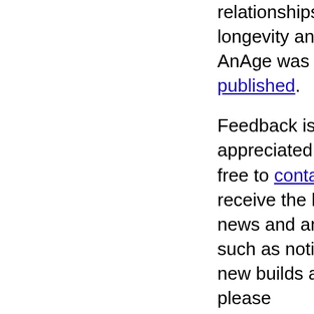relationships between longevity and other traits in AnAge was previously published.
Feedback is always appreciated, so please feel free to contact us. To receive the latest AnAge news and announcements, such as notification when new builds are released, please